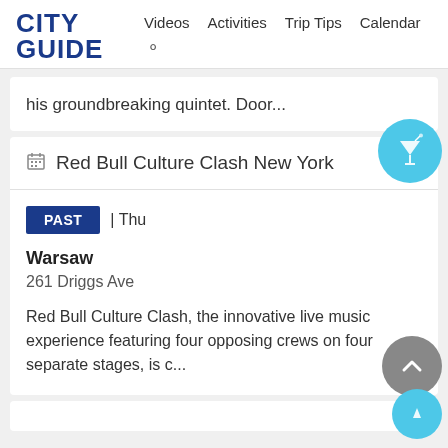CITY GUIDE — Videos | Activities | Trip Tips | Calendar
his groundbreaking quintet. Door...
Red Bull Culture Clash New York
PAST | Thu
Warsaw
261 Driggs Ave
Red Bull Culture Clash, the innovative live music experience featuring four opposing crews on four separate stages, is c...